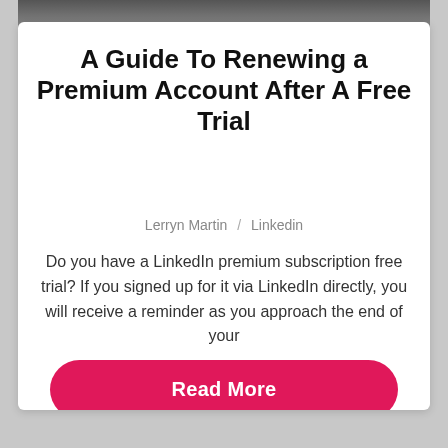[Figure (photo): Top portion of a card with a dark image strip at the top]
A Guide To Renewing a Premium Account After A Free Trial
Lerryn Martin / Linkedin
Do you have a LinkedIn premium subscription free trial? If you signed up for it via LinkedIn directly, you will receive a reminder as you approach the end of your
Read More